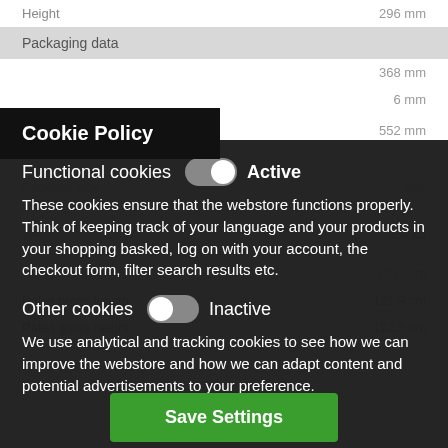Height   296 mm
Packaging data
368 mm
6 mm
Cookie Policy
Functional cookies   Active
These cookies ensure that the webstore functions properly. Think of keeping track of your language and your products in your shopping basked, log on with your account, the checkout form, filter search results etc.
552 mm
Other cookies   Inactive
We use analytical and tracking cookies to see how we can improve the webstore and how we can adapt content and potential advertisements to your preference.
568 kg
Pallet gross length   121.9 cm
Pallet gross height   122.3 cm
Save Settings